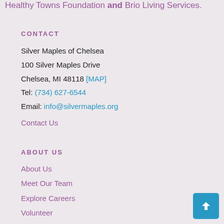Healthy Towns Foundation and Brio Living Services.
CONTACT
Silver Maples of Chelsea
100 Silver Maples Drive
Chelsea, MI 48118 [MAP]
Tel: (734) 627-6544
Email: info@silvermaples.org
Contact Us
ABOUT US
About Us
Meet Our Team
Explore Careers
Volunteer